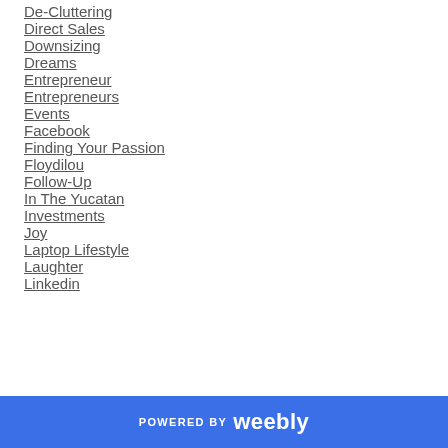De-Cluttering
Direct Sales
Downsizing
Dreams
Entrepreneur
Entrepreneurs
Events
Facebook
Finding Your Passion
Floydilou
Follow-Up
In The Yucatan
Investments
Joy
Laptop Lifestyle
Laughter
Linkedin
POWERED BY weebly